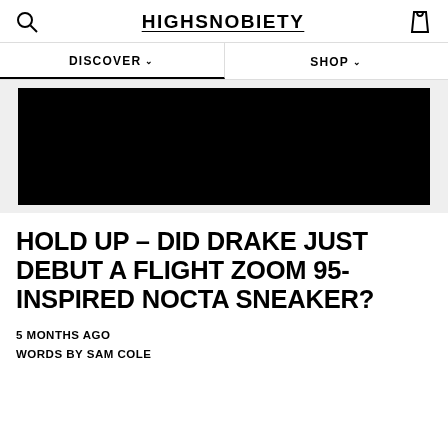HIGHSNOBIETY
DISCOVER
SHOP
[Figure (photo): Black hero image / article thumbnail for NOCTA sneaker article]
HOLD UP – DID DRAKE JUST DEBUT A FLIGHT ZOOM 95-INSPIRED NOCTA SNEAKER?
5 MONTHS AGO
WORDS BY SAM COLE